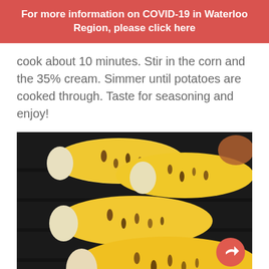For more information on COVID-19 in Waterloo Region, please click here
cook about 10 minutes. Stir in the corn and the 35% cream. Simmer until potatoes are cooked through. Taste for seasoning and enjoy!
[Figure (photo): Four ears of corn on the cob grilling on a dark grill grate, showing yellow kernels with grill marks and slight charring. A share button (orange circular icon with arrow) is visible in the lower right corner of the image.]